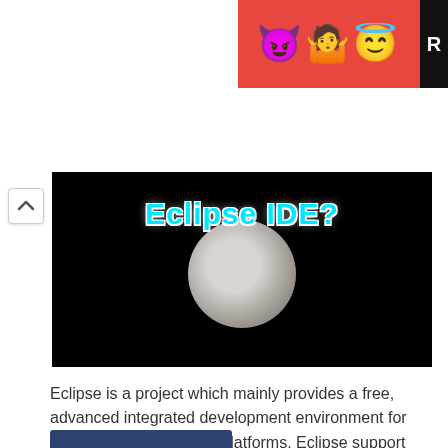[Figure (screenshot): Advertisement banner with emoji characters (devil, woman, halo face) on a red background with a dark R label on the right edge]
[Figure (screenshot): Video thumbnail showing a moon rising over a dark black background with text Eclipse IDE? in cyan/white bold font]
Eclipse is a project which mainly provides a free, advanced integrated development environment for different languages and platforms. Eclipse support ...
Read more